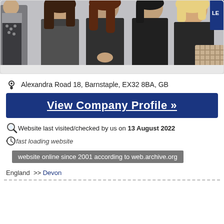[Figure (photo): Group photo of several women in professional attire (dark suits and blazers) posed together, appears to be a company/team photo]
Alexandra Road 18, Barnstaple, EX32 8BA, GB
View Company Profile »
Website last visited/checked by us on 13 August 2022
fast loading website
website online since 2001 according to web.archive.org
England  >> Devon